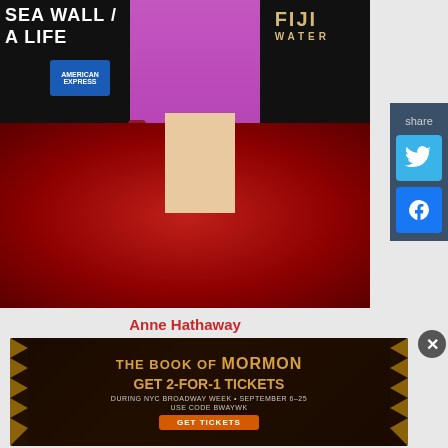[Figure (photo): Person wearing a magenta/purple dress on a red carpet at a 'Sea Wall / A Life' event with Fiji Water and American Express branding in the background]
Anne Hathaway
[Figure (infographic): Advertisement for The Book of Mormon musical. Text: THE BOOK OF MORMON - GET 2-FOR-1 TICKETS - DURING NYC BROADWAY WEEK • SEPTEMBER 6–25 - USE CODE BWAYWK - GET TICKETS]